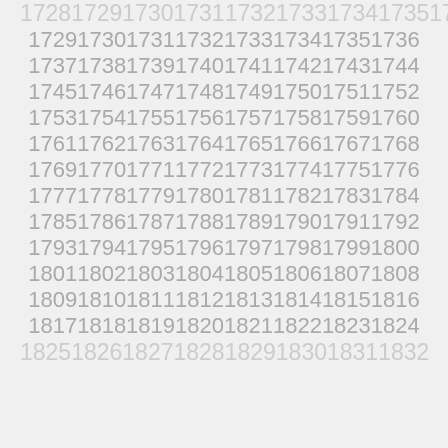1729173017311732173317341735173617371738173917401741174217431744174517461747174817491750175117521753175417551756175717581759176017611762176317641765176617671768176917701771177217731774177517761777177817791780178117821783178417851786178717881789179017911792179317941795179617971798179917991800180118021803180418051806180718081809181018111812181318141815181618171818181918201821182218231824182518261827182818291830183118321833
(partial sequence of consecutive integers)